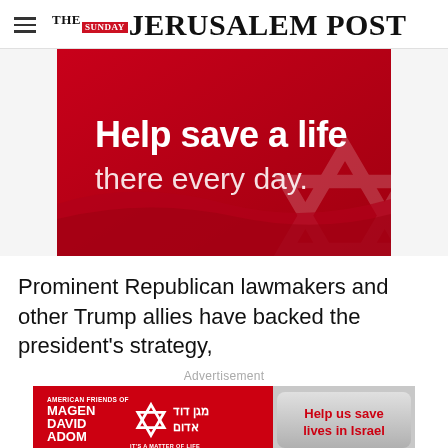THE JERUSALEM POST
[Figure (illustration): Red advertisement banner with Star of David watermark in background. Bold white text reads 'Help save a life' and lighter text reads 'there every day.']
Prominent Republican lawmakers and other Trump allies have backed the president's strategy,
Advertisement
[Figure (illustration): Magen David Adom / American Friends of Magen David Adom advertisement banner on red background with Star of David logo and text 'Help us save lives in Israel' on a silver button.]